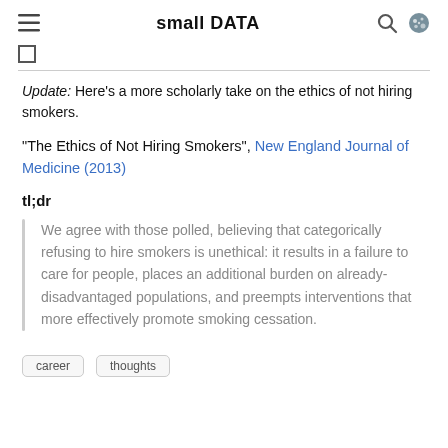small DATA
Update: Here's a more scholarly take on the ethics of not hiring smokers.
"The Ethics of Not Hiring Smokers", New England Journal of Medicine (2013)
tl;dr
We agree with those polled, believing that categorically refusing to hire smokers is unethical: it results in a failure to care for people, places an additional burden on already-disadvantaged populations, and preempts interventions that more effectively promote smoking cessation.
career
thoughts